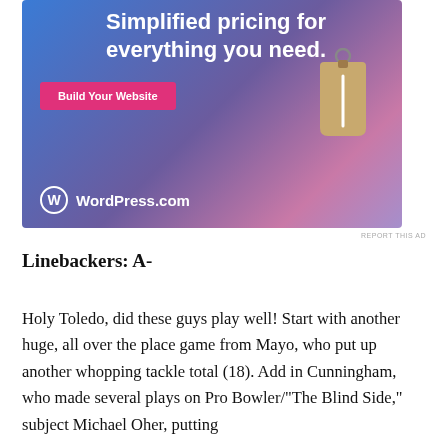[Figure (illustration): WordPress.com advertisement with gradient blue-purple-pink background. Text reads 'Simplified pricing for everything you need.' with a pink 'Build Your Website' button and a tan price tag graphic. WordPress.com logo at bottom left.]
REPORT THIS AD
Linebackers: A-
Holy Toledo, did these guys play well! Start with another huge, all over the place game from Mayo, who put up another whopping tackle total (18). Add in Cunningham, who made several plays on Pro Bowler/"The Blind Side," subject Michael Oher, putting